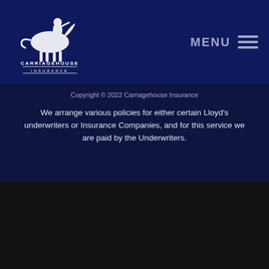[Figure (logo): Carriagehouse Insurance logo with horse and rider silhouette in white on dark navy background, with 'CARRIAGEHOUSE INSURANCE' text below]
MENU
Copyright © 2022 Carriagehouse Insurance
We arrange various policies for either certain Lloyd's underwriters or Insurance Companies, and for this service we are paid by the Underwriters.
Privacy Policy
Sitemap
Terms and Conditions
Terms of Use
Complaints Procedure
Policy Documents
Login
This website is using cookies
We use cookies to ensure that we give you the best experience on our website. If you continue without changing your settings, we'll assume that you are happy to receive all cookies on this website.
Accept   Learn More